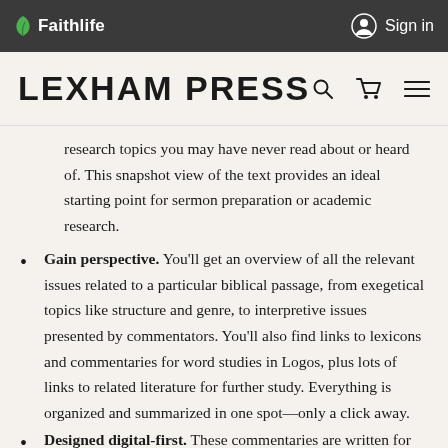Faithlife   Sign in
LEXHAM PRESS
research topics you may have never read about or heard of. This snapshot view of the text provides an ideal starting point for sermon preparation or academic research.
Gain perspective. You'll get an overview of all the relevant issues related to a particular biblical passage, from exegetical topics like structure and genre, to interpretive issues presented by commentators. You'll also find links to lexicons and commentaries for word studies in Logos, plus lots of links to related literature for further study. Everything is organized and summarized in one spot—only a click away.
Designed digital-first. These commentaries are written for the…